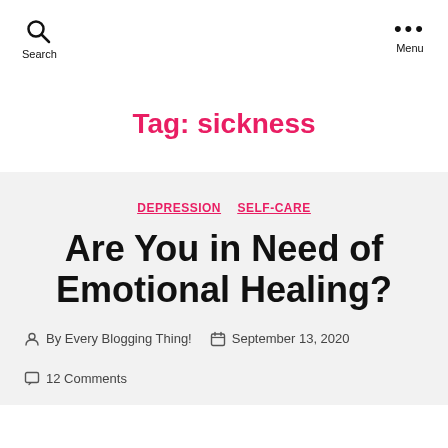Search   Menu
Tag: sickness
DEPRESSION   SELF-CARE
Are You in Need of Emotional Healing?
By Every Blogging Thing!   September 13, 2020   12 Comments